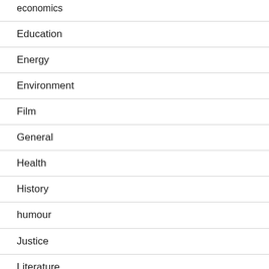economics
Education
Energy
Environment
Film
General
Health
History
humour
Justice
Literature